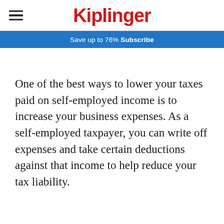Kiplinger
Save up to 76%  Subscribe
One of the best ways to lower your taxes paid on self-employed income is to increase your business expenses. As a self-employed taxpayer, you can write off expenses and take certain deductions against that income to help reduce your tax liability.